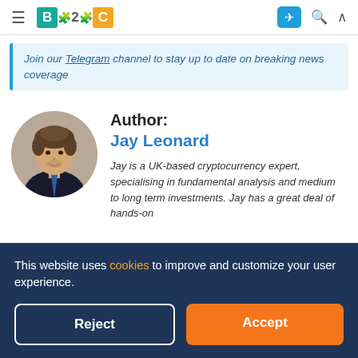B2C [logo] navigation bar with hamburger menu, Telegram icon, search icon, and up arrow
Join our Telegram channel to stay up to date on breaking news coverage
Author:
Jay Leonard
Jay is a UK-based cryptocurrency expert, specialising in fundamental analysis and medium to long term investments. Jay has a great deal of hands-on
This website uses cookies to improve and customize your user experience.
Reject
Accept